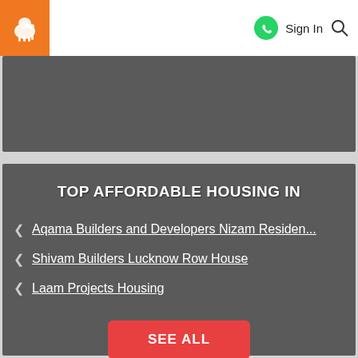[Figure (logo): Orange square logo with white lion silhouette]
Sign In
[Figure (other): Gray banner/image placeholder]
TOP AFFORDABLE HOUSING IN
Aqama Builders and Developers Nizam Residen...
Shivam Builders Lucknow Row House
Laam Projects Housing
SEE ALL